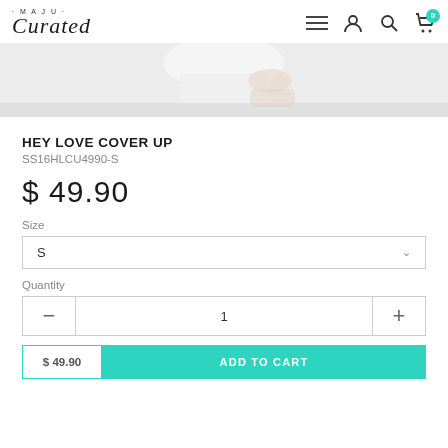Maju Curated — navigation bar with logo, hamburger menu, user icon, search icon, cart icon with badge 0
[Figure (photo): Partial product photo showing what appears to be a garment/cover-up on a light grey background]
HEY LOVE COVER UP
SS16HLCU4990-S
$ 49.90
Size
S
Quantity
1
$ 49.90  ADD TO CART